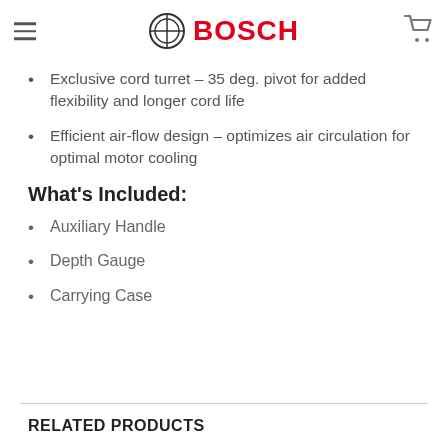BOSCH (navigation header with menu icon and cart icon)
Vario-Lock positioning – rotates and locks chisel into the optimal working
Exclusive cord turret – 35 deg. pivot for added flexibility and longer cord life
Efficient air-flow design – optimizes air circulation for optimal motor cooling
What's Included:
Auxiliary Handle
Depth Gauge
Carrying Case
RELATED PRODUCTS